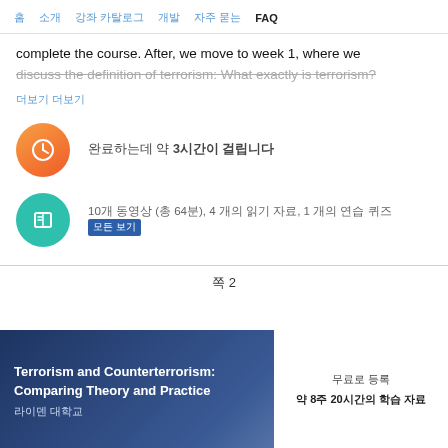홈   소개   강좌 카탈로그   개발   자주 묻는 FAQ
complete the course. After, we move to week 1, where we discuss the definition of terrorism: What exactly is terrorism?
더보기 더보기
완료하는데 약 3시간이 걸립니다
10개 동영상 (총 64분), 4 개의 읽기 자료, 1 개의 연습 퀴즈   모든 보기
쪽 2
Terrorism and Counterterrorism: Comparing Theory and Practice
라이덴 대학교
무료로 등록
약 8주 20시간의 학습 자료